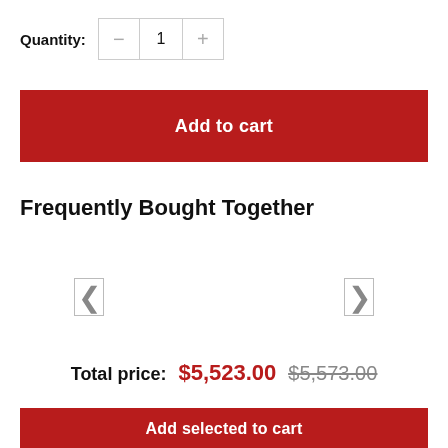Quantity: − 1 +
Add to cart
Frequently Bought Together
[Figure (other): Two navigation arrow icons (left and right chevrons) for a product carousel]
Total price: $5,523.00 $5,573.00
Add selected to cart